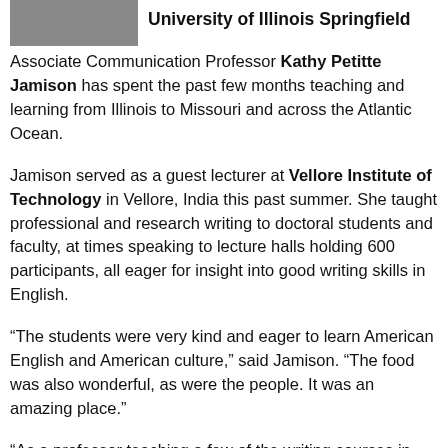[Figure (photo): Photo of a person, partially visible at top left]
University of Illinois Springfield
Associate Communication Professor Kathy Petitte Jamison has spent the past few months teaching and learning from Illinois to Missouri and across the Atlantic Ocean.
Jamison served as a guest lecturer at Vellore Institute of Technology in Vellore, India this past summer. She taught professional and research writing to doctoral students and faculty, at times speaking to lecture halls holding 600 participants, all eager for insight into good writing skills in English.
“The students were very kind and eager to learn American English and American culture,” said Jamison. “The food was also wonderful, as were the people. It was an amazing place.”
“As a professor teaching a few of the writing courses in Communication, it’s always good to work with English as a Second Language (ESL) students to understand our language from different angles and perspectives. I’ve taught